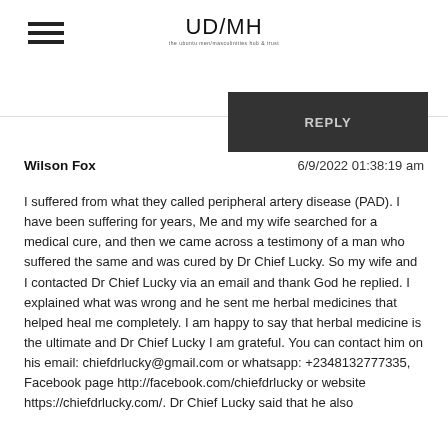UD/MH
REPLY
Wilson Fox	6/9/2022 01:38:19 am
I suffered from what they called peripheral artery disease (PAD). I have been suffering for years, Me and my wife searched for a medical cure, and then we came across a testimony of a man who suffered the same and was cured by Dr Chief Lucky. So my wife and I contacted Dr Chief Lucky via an email and thank God he replied. I explained what was wrong and he sent me herbal medicines that helped heal me completely. I am happy to say that herbal medicine is the ultimate and Dr Chief Lucky I am grateful. You can contact him on his email: chiefdrlucky@gmail.com or whatsapp: +2348132777335, Facebook page http://facebook.com/chiefdrlucky or website https://chiefdrlucky.com/. Dr Chief Lucky said that he also